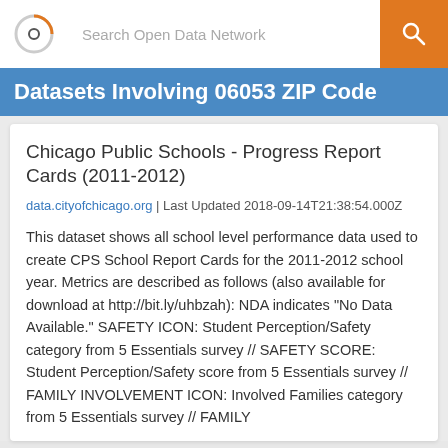Search Open Data Network
Datasets Involving 06053 ZIP Code
Chicago Public Schools - Progress Report Cards (2011-2012)
data.cityofchicago.org | Last Updated 2018-09-14T21:38:54.000Z
This dataset shows all school level performance data used to create CPS School Report Cards for the 2011-2012 school year. Metrics are described as follows (also available for download at http://bit.ly/uhbzah): NDA indicates "No Data Available." SAFETY ICON: Student Perception/Safety category from 5 Essentials survey // SAFETY SCORE: Student Perception/Safety score from 5 Essentials survey // FAMILY INVOLVEMENT ICON: Involved Families category from 5 Essentials survey // FAMILY